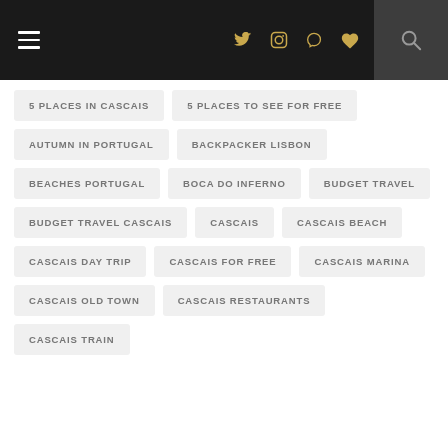Navigation header with hamburger menu, social icons (Twitter, Instagram, Pinterest, heart), and search
5 PLACES IN CASCAIS
5 PLACES TO SEE FOR FREE
AUTUMN IN PORTUGAL
BACKPACKER LISBON
BEACHES PORTUGAL
BOCA DO INFERNO
BUDGET TRAVEL
BUDGET TRAVEL CASCAIS
CASCAIS
CASCAIS BEACH
CASCAIS DAY TRIP
CASCAIS FOR FREE
CASCAIS MARINA
CASCAIS OLD TOWN
CASCAIS RESTAURANTS
CASCAIS TRAIN